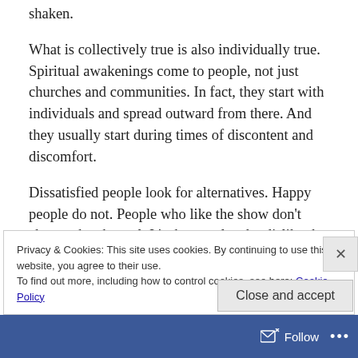shaken.
What is collectively true is also individually true. Spiritual awakenings come to people, not just churches and communities. In fact, they start with individuals and spread outward from there. And they usually start during times of discontent and discomfort.
Dissatisfied people look for alternatives. Happy people do not. People who like the show don’t change the channel. It’s the people who dislike the actor and are bored by the plot who look for something better.
Privacy & Cookies: This site uses cookies. By continuing to use this website, you agree to their use.
To find out more, including how to control cookies, see here: Cookie Policy
Follow ...